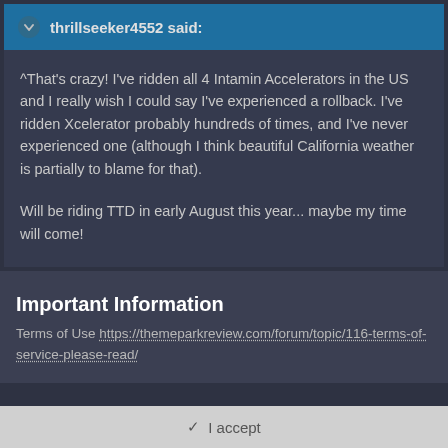thrillseeker4552 said:
^That's crazy! I've ridden all 4 Intamin Accelerators in the US and I really wish I could say I've experienced a rollback. I've ridden Xcelerator probably hundreds of times, and I've never experienced one (although I think beautiful California weather is partially to blame for that).
Will be riding TTD in early August this year... maybe my time will come!
Important Information
Terms of Use https://themeparkreview.com/forum/topic/116-terms-of-service-please-read/
✓ I accept